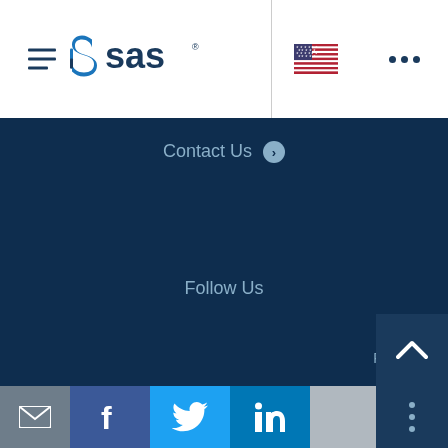SAS navigation bar with hamburger menu, SAS logo, flag icon, and menu dots
Contact Us ›
Follow Us
Privacy Statement
Terms of Use
© 2022 SAS Institute Inc. All Rights Reserved.
[Figure (logo): SAS Institute logo with stylized S and 'sas' text]
[Figure (infographic): Social media icons: email (envelope), Facebook, Twitter, LinkedIn]
[Figure (other): Back to top chevron button (dark navy)]
[Figure (other): More options vertical dots button (dark navy)]